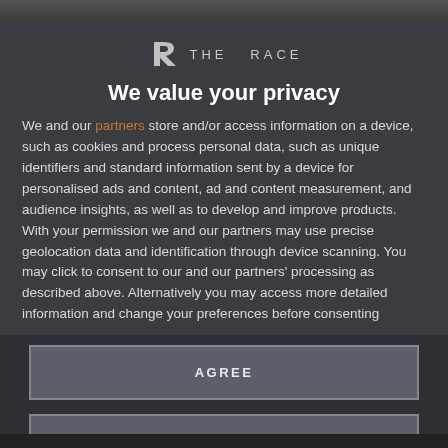[Figure (logo): The Race logo with stylized R and THE RACE text]
We value your privacy
We and our partners store and/or access information on a device, such as cookies and process personal data, such as unique identifiers and standard information sent by a device for personalised ads and content, ad and content measurement, and audience insights, as well as to develop and improve products. With your permission we and our partners may use precise geolocation data and identification through device scanning. You may click to consent to our and our partners' processing as described above. Alternatively you may access more detailed information and change your preferences before consenting
AGREE
MORE OPTIONS